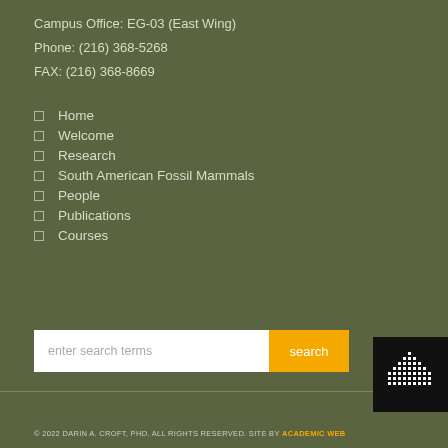Campus Office: EG-03 (East Wing)
Phone: (216) 368-5268
FAX: (216) 368-8669
Home
Welcome
Research
South American Fossil Mammals
People
Publications
Courses
[Figure (screenshot): Search bar with white input field showing placeholder 'enter search terms' and an orange 'search' button]
[Figure (logo): Black square logo with white dot-matrix triangle/pyramid pattern]
© 2022 DARIN A. CROFT, PHD. ALL RIGHTS RESERVED. SITE BY ACADEMIC WEB